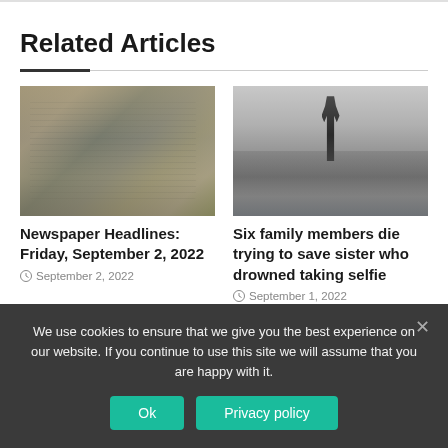Related Articles
[Figure (photo): Stack of folded newspapers photographed from the side, showing layered pages with colorful print]
Newspaper Headlines: Friday, September 2, 2022
September 2, 2022
[Figure (photo): Black and white photo of a hand reaching out of water, drowning scene]
Six family members die trying to save sister who drowned taking selfie
September 1, 2022
We use cookies to ensure that we give you the best experience on our website. If you continue to use this site we will assume that you are happy with it.